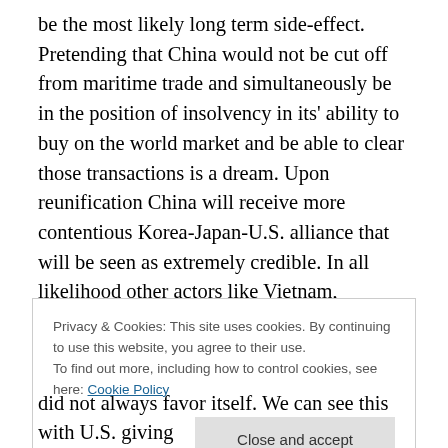be the most likely long term side-effect. Pretending that China would not be cut off from maritime trade and simultaneously be in the position of insolvency in its' ability to buy on the world market and be able to clear those transactions is a dream. Upon reunification China will receive more contentious Korea-Japan-U.S. alliance that will be seen as extremely credible. In all likelihood other actors like Vietnam, Indonesia, and Philippines will assert themselves in their territorial waters.
Privacy & Cookies: This site uses cookies. By continuing to use this website, you agree to their use. To find out more, including how to control cookies, see here: Cookie Policy
did not always favor itself. We can see this with U.S. giving